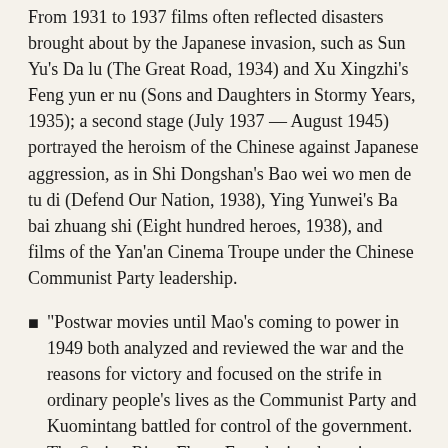From 1931 to 1937 films often reflected disasters brought about by the Japanese invasion, such as Sun Yu's Da lu (The Great Road, 1934) and Xu Xingzhi's Feng yun er nu (Sons and Daughters in Stormy Years, 1935); a second stage (July 1937 — August 1945) portrayed the heroism of the Chinese against Japanese aggression, as in Shi Dongshan's Bao wei wo men de tu di (Defend Our Nation, 1938), Ying Yunwei's Ba bai zhuang shi (Eight hundred heroes, 1938), and films of the Yan'an Cinema Troupe under the Chinese Communist Party leadership.
“Postwar movies until Mao's coming to power in 1949 both analyzed and reviewed the war and the reasons for victory and focused on the strife in ordinary people's lives as the Communist Party and Kuomintang battled for control of the government. The Spring River Flows East depicted wartime struggles of the people and the humiliations they faced in the postwar period, while other films such as Tang Xiaodan's Tian tang chun meng (Transient Joy in Heaven, 1947), Shen Fu's Wan jia deng huo (Lights of Myriad Families, 1948), and Zheng Junli's Wuya yu ma que (Crows and Sparrows, 1949) exposed other dark sides of society at the time.
Chinese Film in the 1940s